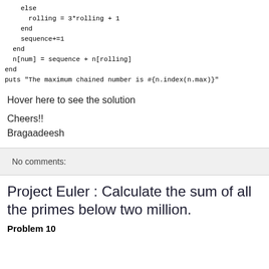else
      rolling = 3*rolling + 1
    end
    sequence+=1
  end
  n[num] = sequence + n[rolling]
end
puts "The maximum chained number is #{n.index(n.max)}"
Hover here to see the solution
Cheers!!
Bragaadeesh
No comments:
Project Euler : Calculate the sum of all the primes below two million.
Problem 10